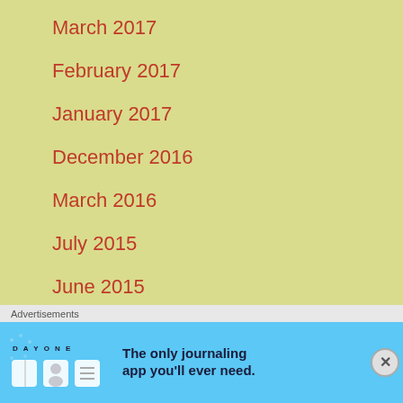March 2017
February 2017
January 2017
December 2016
March 2016
July 2015
June 2015
Categories
Advertisements
[Figure (illustration): DAY ONE journaling app advertisement banner with blue background, app icons, and tagline 'The only journaling app you'll ever need.']